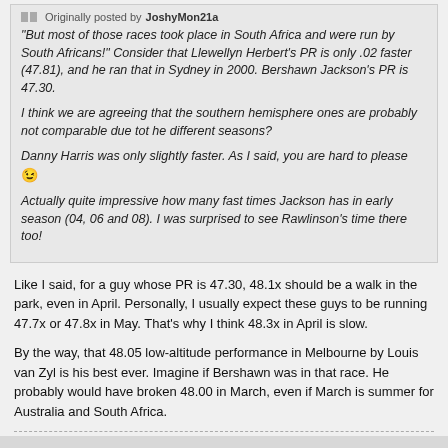Originally posted by JoshyMon21a
"But most of those races took place in South Africa and were run by South Africans!" Consider that Llewellyn Herbert's PR is only .02 faster (47.81), and he ran that in Sydney in 2000. Bershawn Jackson's PR is 47.30.
I think we are agreeing that the southern hemisphere ones are probably not comparable due tot he different seasons?
Danny Harris was only slightly faster. As I said, you are hard to please 😉
Actually quite impressive how many fast times Jackson has in early season (04, 06 and 08). I was surprised to see Rawlinson's time there too!
Like I said, for a guy whose PR is 47.30, 48.1x should be a walk in the park, even in April. Personally, I usually expect these guys to be running 47.7x or 47.8x in May. That's why I think 48.3x in April is slow.
By the way, that 48.05 low-altitude performance in Melbourne by Louis van Zyl is his best ever. Imagine if Bershawn was in that race. He probably would have broken 48.00 in March, even if March is summer for Australia and South Africa.